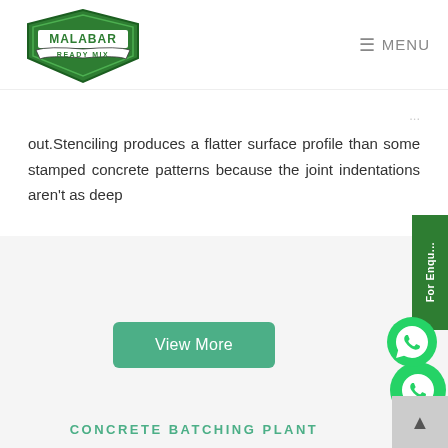MALABAR READY MIX | MENU
out.Stenciling produces a flatter surface profile than some stamped concrete patterns because the joint indentations aren't as deep
View More
CONCRETE BATCHING PLANT